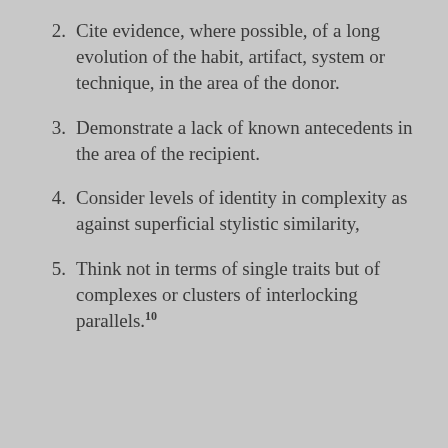2. Cite evidence, where possible, of a long evolution of the habit, artifact, system or technique, in the area of the donor.
3. Demonstrate a lack of known antecedents in the area of the recipient.
4. Consider levels of identity in complexity as against superficial stylistic similarity,
5. Think not in terms of single traits but of complexes or clusters of interlocking parallels.10